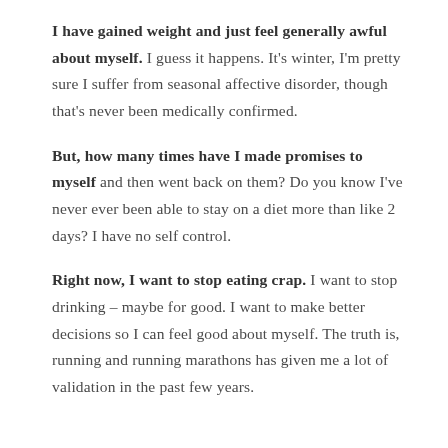I have gained weight and just feel generally awful about myself. I guess it happens. It's winter, I'm pretty sure I suffer from seasonal affective disorder, though that's never been medically confirmed.
But, how many times have I made promises to myself and then went back on them? Do you know I've never ever been able to stay on a diet more than like 2 days? I have no self control.
Right now, I want to stop eating crap. I want to stop drinking – maybe for good. I want to make better decisions so I can feel good about myself. The truth is, running and running marathons has given me a lot of validation in the past few years.